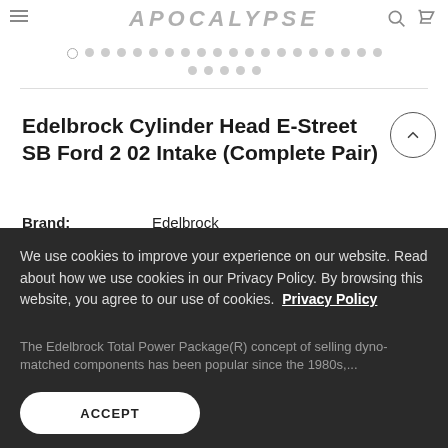APOCALYPSE
[Figure (other): Carousel navigation dots — two rows of circular dots, first row has one open/outline dot followed by filled grey dots, second row has five filled grey dots]
Edelbrock Cylinder Head E-Street SB Ford 2 02 Intake (Complete Pair)
Brand: Edelbrock
Collections: Engine Components, Heads, Heads
SKU: EDE5025
We use cookies to improve your experience on our website. Read about how we use cookies in our Privacy Policy. By browsing this website, you agree to our use of cookies. Privacy Policy
The Edelbrock Total Power Package(R) concept of selling dyno-matched components has been popular since the 1980s,...
ACCEPT